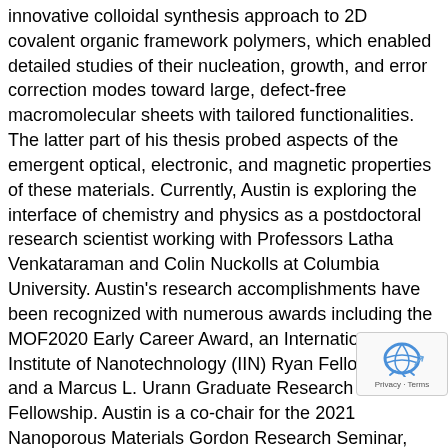innovative colloidal synthesis approach to 2D covalent organic framework polymers, which enabled detailed studies of their nucleation, growth, and error correction modes toward large, defect-free macromolecular sheets with tailored functionalities. The latter part of his thesis probed aspects of the emergent optical, electronic, and magnetic properties of these materials. Currently, Austin is exploring the interface of chemistry and physics as a postdoctoral research scientist working with Professors Latha Venkataraman and Colin Nuckolls at Columbia University. Austin's research accomplishments have been recognized with numerous awards including the MOF2020 Early Career Award, an International Institute of Nanotechnology (IIN) Ryan Fellowship, and a Marcus L. Urann Graduate Research Fellowship. Austin is a co-chair for the 2021 Nanoporous Materials Gordon Research Seminar, which focuses on order and disorder in functional porous materials. His passion for broadening participation in chemical science research is evident from Austin's multi-year involvement in the high school student-oriented Mentorship Opportunities for Research Engagement program at Northwestern University (MORE@NU).